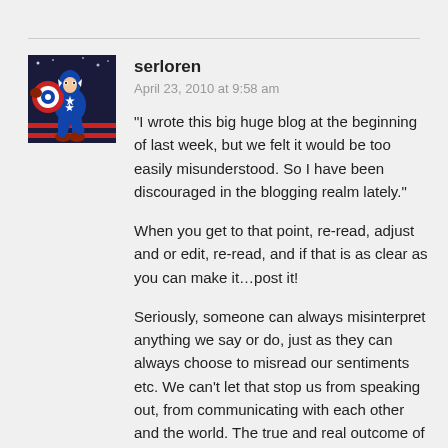[Figure (illustration): Avatar image of Captain America character throwing shield, comic book art style with American flag background]
serloren
April 23, 2010 at 9:58 am
“I wrote this big huge blog at the beginning of last week, but we felt it would be too easily misunderstood. So I have been discouraged in the blogging realm lately.”
When you get to that point, re-read, adjust and or edit, re-read, and if that is as clear as you can make it…post it!
Seriously, someone can always misinterpret anything we say or do, just as they can always choose to misread our sentiments etc. We can’t let that stop us from speaking out, from communicating with each other and the world. The true and real outcome of Political